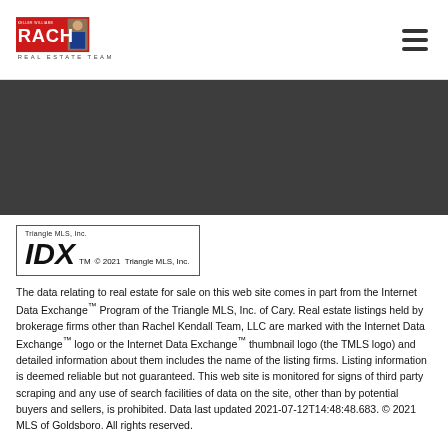[Figure (logo): Rachel Real Estate Team logo with red RACHM text and person photo]
[Figure (other): Hamburger menu icon (three horizontal lines)]
[Figure (other): IDX logo badge: Triangle MLS, Inc. / IDX TM © 2021 Triangle MLS, Inc.]
The data relating to real estate for sale on this web site comes in part from the Internet Data Exchange™ Program of the Triangle MLS, Inc. of Cary. Real estate listings held by brokerage firms other than Rachel Kendall Team, LLC are marked with the Internet Data Exchange™ logo or the Internet Data Exchange™ thumbnail logo (the TMLS logo) and detailed information about them includes the name of the listing firms. Listing information is deemed reliable but not guaranteed. This web site is monitored for signs of third party scraping and any use of search facilities of data on the site, other than by potential buyers and sellers, is prohibited. Data last updated 2021-07-12T14:48:48.683. © 2021 MLS of Goldsboro. All rights reserved.